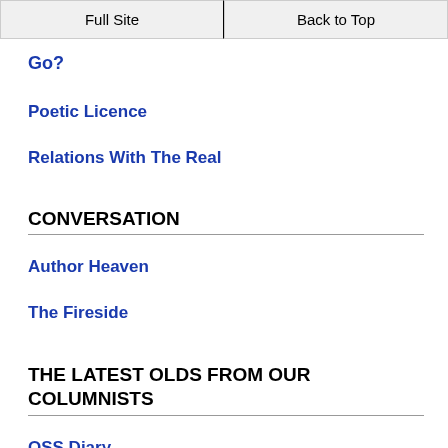Full Site | Back to Top
Go?
Poetic Licence
Relations With The Real
CONVERSATION
Author Heaven
The Fireside
THE LATEST OLDS FROM OUR COLUMNISTS
OSS Diary